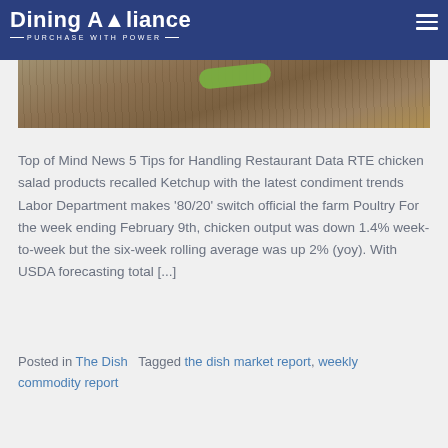Dining Alliance — PURCHASE WITH POWER
[Figure (photo): Close-up photo of a wooden surface with a green vegetable (likely a pepper or similar) on top, brownish wood grain texture visible.]
Top of Mind News 5 Tips for Handling Restaurant Data RTE chicken salad products recalled Ketchup with the latest condiment trends Labor Department makes '80/20' switch official the farm Poultry For the week ending February 9th, chicken output was down 1.4% week-to-week but the six-week rolling average was up 2% (yoy). With USDA forecasting total [...]
Posted in The Dish   Tagged the dish market report, weekly commodity report